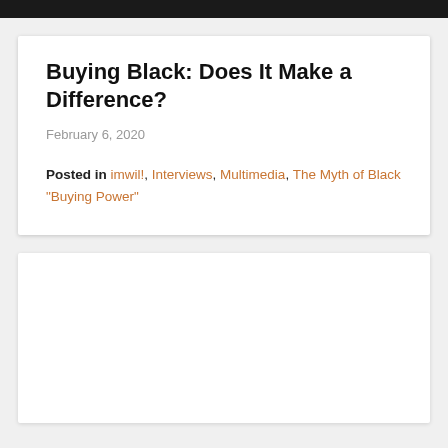Buying Black: Does It Make a Difference?
February 6, 2020
Posted in imwil!, Interviews, Multimedia, The Myth of Black "Buying Power"